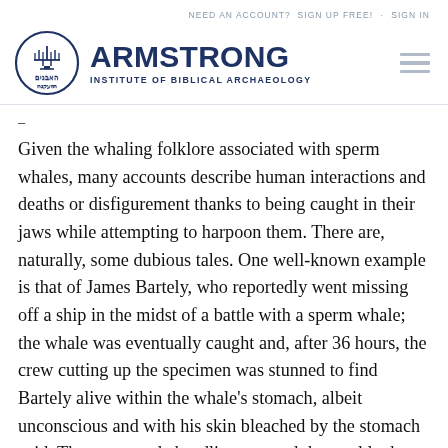NEED AN ACCOUNT?  SIGN UP FREE!  ·  SIGN IN
[Figure (logo): Armstrong Institute of Biblical Archaeology logo with circular emblem containing a menorah and Hebrew text, alongside bold navy text 'ARMSTRONG' and subtitle 'INSTITUTE OF BIBLICAL ARCHAEOLOGY', with a hamburger menu icon to the right.]
–
Given the whaling folklore associated with sperm whales, many accounts describe human interactions and deaths or disfigurement thanks to being caught in their jaws while attempting to harpoon them. There are, naturally, some dubious tales. One well-known example is that of James Bartely, who reportedly went missing off a ship in the midst of a battle with a sperm whale; the whale was eventually caught and, after 36 hours, the crew cutting up the specimen was stunned to find Bartely alive within the whale's stomach, albeit unconscious and with his skin bleached by the stomach acid. The story made headlines around the world—but in the decades that followed, was called into question. The boat described did exist, but it was not a whaling vessel; there was no